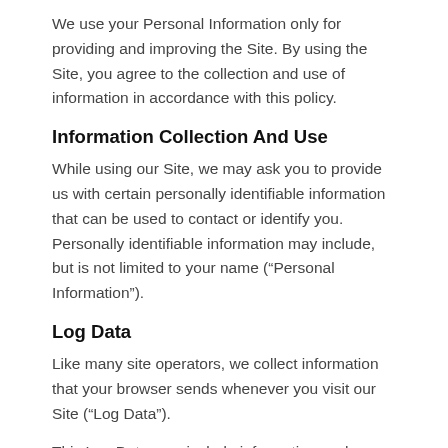We use your Personal Information only for providing and improving the Site. By using the Site, you agree to the collection and use of information in accordance with this policy.
Information Collection And Use
While using our Site, we may ask you to provide us with certain personally identifiable information that can be used to contact or identify you. Personally identifiable information may include, but is not limited to your name (“Personal Information”).
Log Data
Like many site operators, we collect information that your browser sends whenever you visit our Site (“Log Data”).
This Log Data may include information such as your computer’s Internet Protocol (“IP”) address, browser type, browser version, the pages of our Site that you